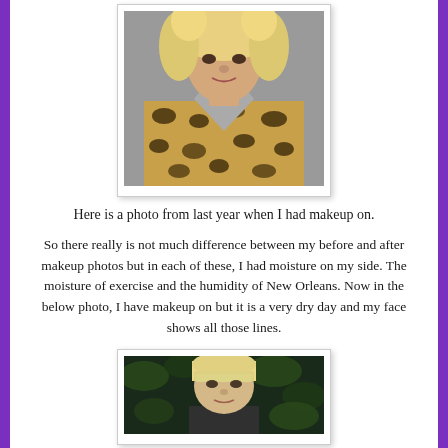[Figure (photo): Portrait photo of a woman with blonde curly hair wearing a leopard print coat]
Here is a photo from last year when I had makeup on.
So there really is not much difference between my before and after makeup photos but in each of these, I had moisture on my side. The moisture of exercise and the humidity of New Orleans. Now in the below photo, I have makeup on but it is a very dry day and my face shows all those lines.
[Figure (photo): Portrait photo of a woman with blonde straight hair against a dark leafy background]